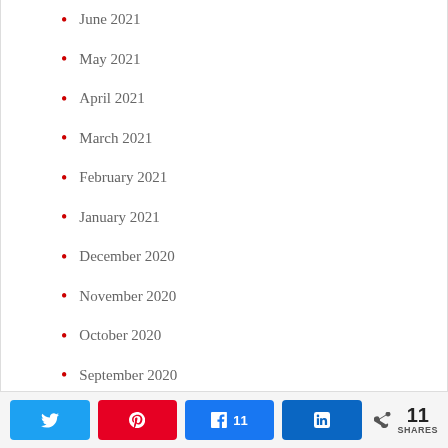June 2021
May 2021
April 2021
March 2021
February 2021
January 2021
December 2020
November 2020
October 2020
September 2020
August 2020
Twitter share | Pinterest share | Facebook 11 shares | LinkedIn share | 11 SHARES